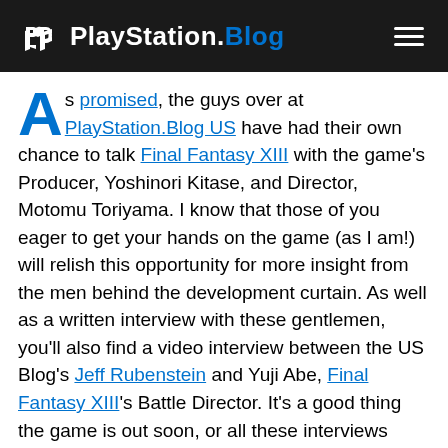PlayStation.Blog
As promised, the guys over at PlayStation.Blog US have had their own chance to talk Final Fantasy XIII with the game's Producer, Yoshinori Kitase, and Director, Motomu Toriyama. I know that those of you eager to get your hands on the game (as I am!) will relish this opportunity for more insight from the men behind the development curtain. As well as a written interview with these gentlemen, you'll also find a video interview between the US Blog's Jeff Rubenstein and Yuji Abe, Final Fantasy XIII's Battle Director. It's a good thing the game is out soon, or all these interviews would be little more than some sort of teasey torture.
Just a few weeks to go...
Here are the interviews, courtesy of the US Blog's Chris